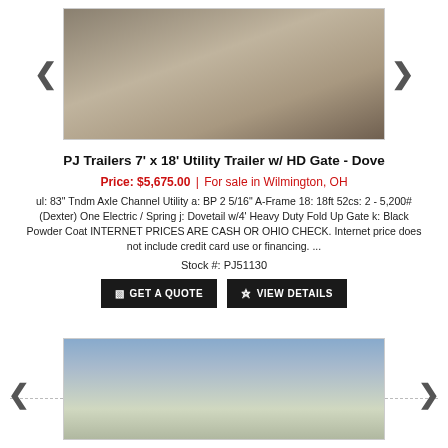[Figure (photo): Photo of a PJ utility trailer with wood deck and HD gate, parked on gravel lot]
PJ Trailers 7' x 18' Utility Trailer w/ HD Gate - Dove
Price: $5,675.00 | For sale in Wilmington, OH
ul: 83" Tndm Axle Channel Utility a: BP 2 5/16" A-Frame 18: 18ft 52cs: 2 - 5,200# (Dexter) One Electric / Spring j: Dovetail w/4' Heavy Duty Fold Up Gate k: Black Powder Coat INTERNET PRICES ARE CASH OR OHIO CHECK. Internet price does not include credit card use or financing. ...
Stock #: PJ51130
GET A QUOTE   VIEW DETAILS
[Figure (photo): Photo of a white horse trailer or fifth-wheel trailer parked outdoors near trees and storage units]